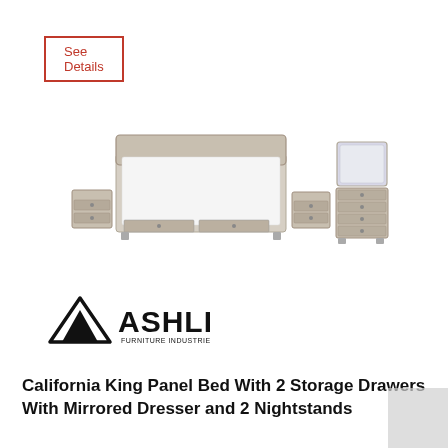See Details
[Figure (photo): Bedroom furniture set including a California King Panel Bed with 2 storage drawers, 2 nightstands, a dresser with mirror, all in a light gray/beige wood finish]
[Figure (logo): Ashley Furniture Industries, LLC logo with mountain peaks icon and ASHLEY text in bold black]
California King Panel Bed With 2 Storage Drawers With Mirrored Dresser and 2 Nightstands